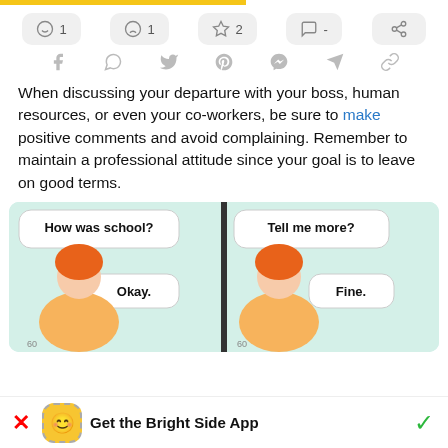[Figure (infographic): Reaction bar with emoji buttons showing: smiley face 1, sad face 1, star 2, comment -, and share icon. Social sharing icons below: Facebook, WhatsApp, Twitter, Pinterest, Messenger, Telegram, link.]
When discussing your departure with your boss, human resources, or even your co-workers, be sure to make positive comments and avoid complaining. Remember to maintain a professional attitude since your goal is to leave on good terms.
[Figure (illustration): Comic-style illustration split in two panels. Left panel: woman with orange hair asking 'How was school?' and response bubble 'Okay.' Right panel: same woman asking 'Tell me more?' and response 'Fine.']
Get the Bright Side App